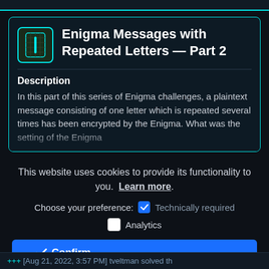Enigma Messages with Repeated Letters — Part 2
Description
In this part of this series of Enigma challenges, a plaintext message consisting of one letter which is repeated several times has been encrypted by the Enigma. What was the setting of the Enigma
This website uses cookies to provide its functionality to you. Learn more.
Choose your preference:  Technically required
Analytics
Confirm
+++ [Aug 21, 2022, 3:57 PM] tveltman solved th